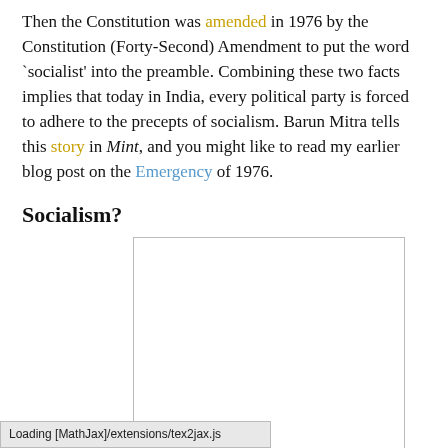Then the Constitution was amended in 1976 by the Constitution (Forty-Second) Amendment to put the word 'socialist' into the preamble. Combining these two facts implies that today in India, every political party is forced to adhere to the precepts of socialism. Barun Mitra tells this story in Mint, and you might like to read my earlier blog post on the Emergency of 1976.
Socialism?
[Figure (other): Blank white image placeholder with light border]
(Image credit). What does the word 'socialism' mean? Here are some definitions from dictionary.com and Merriam-Webster...
Loading [MathJax]/extensions/tex2jax.js